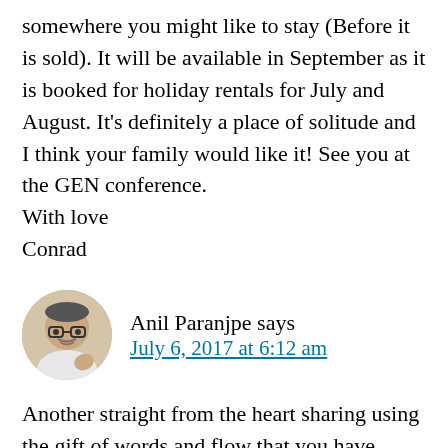somewhere you might like to stay (Before it is sold). It will be available in September as it is booked for holiday rentals for July and August. It's definitely a place of solitude and I think your family would like it! See you at the GEN conference. With love Conrad
Anil Paranjpe says
July 6, 2017 at 6:12 am
Another straight from the heart sharing using the gift of words and flow that you have. Blessed to read